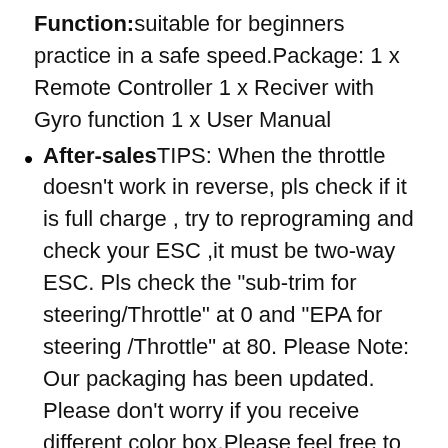Function: suitable for beginners practice in a safe speed.Package: 1 x Remote Controller 1 x Reciver with Gyro function 1 x User Manual
After-sales TIPS: When the throttle doesn't work in reverse, pls check if it is full charge , try to reprograming and check your ESC ,it must be two-way ESC. Pls check the "sub-trim for steering/Throttle" at 0 and "EPA for steering /Throttle" at 80. Please Note: Our packaging has been updated. Please don't worry if you receive different color box.Please feel free to contact us any troubles.
10   Flysky Noble NB4 Rc Transmitter Receiver FGr4 V2 & FGr4s V2, 2.4GHz Rc Car Remote